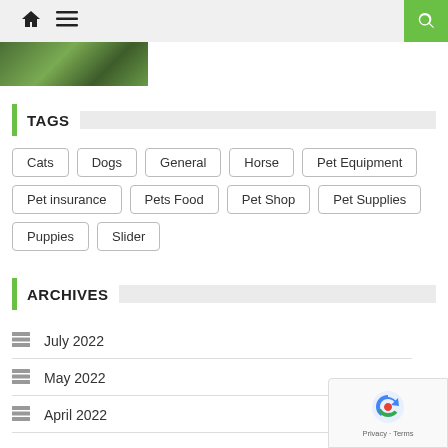Navigation bar with home icon, menu icon, and search button
[Figure (photo): Partial green nature/foliage hero image strip at top left]
TAGS
Cats
Dogs
General
Horse
Pet Equipment
Pet insurance
Pets Food
Pet Shop
Pet Supplies
Puppies
Slider
ARCHIVES
July 2022
May 2022
April 2022